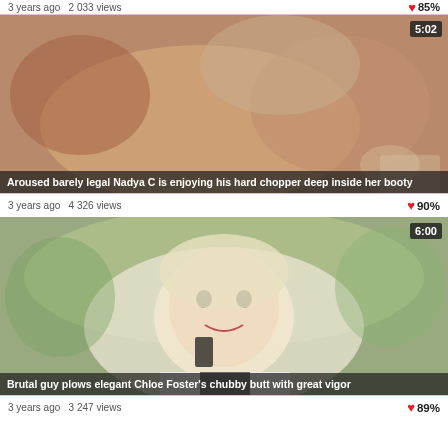3 years ago  2 033 views
85%
[Figure (photo): Video thumbnail for adult content video titled 'Aroused barely legal Nadya C is enjoying his hard chopper deep inside her booty', duration 5:02]
Aroused barely legal Nadya C is enjoying his hard chopper deep inside her booty
3 years ago  4 326 views
90%
[Figure (photo): Video thumbnail showing a smiling young blonde woman on phone, for video titled 'Brutal guy plows elegant Chloe Foster's chubby butt with great vigor', duration 6:00]
Brutal guy plows elegant Chloe Foster's chubby butt with great vigor
3 years ago  3 247 views
89%